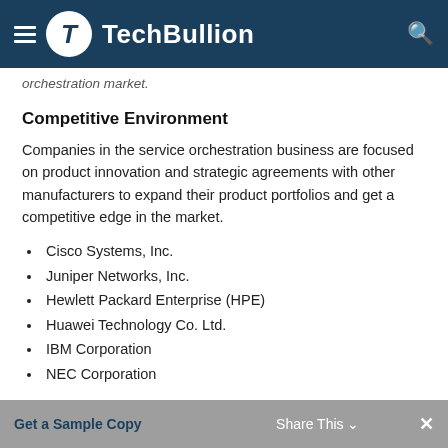TechBullion
orchestration market.
Competitive Environment
Companies in the service orchestration business are focused on product innovation and strategic agreements with other manufacturers to expand their product portfolios and get a competitive edge in the market.
Cisco Systems, Inc.
Juniper Networks, Inc.
Hewlett Packard Enterprise (HPE)
Huawei Technology Co. Ltd.
IBM Corporation
NEC Corporation
Get a Sample Copy   Share This   ✕